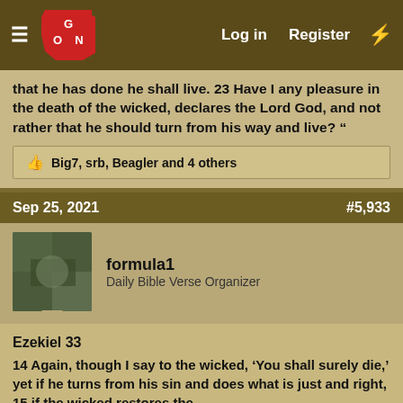GON | Log in | Register
that he has done he shall live. 23 Have I any pleasure in the death of the wicked, declares the Lord God, and not rather that he should turn from his way and live? “
👍 Big7, srb, Beagler and 4 others
Sep 25, 2021   #5,933
formula1
Daily Bible Verse Organizer
Ezekiel 33
14 Again, though I say to the wicked, ‘You shall surely die,’ yet if he turns from his sin and does what is just and right, 15 if the wicked restores the
One-of-a-kind Aero style.
Vibrant prints. Must-feel fabrics.
www.aeropostale.com